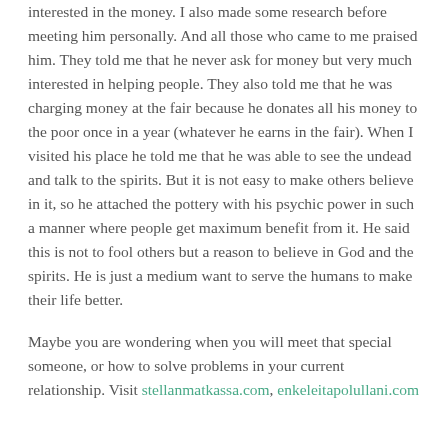interested in the money. I also made some research before meeting him personally. And all those who came to me praised him. They told me that he never ask for money but very much interested in helping people. They also told me that he was charging money at the fair because he donates all his money to the poor once in a year (whatever he earns in the fair). When I visited his place he told me that he was able to see the undead and talk to the spirits. But it is not easy to make others believe in it, so he attached the pottery with his psychic power in such a manner where people get maximum benefit from it. He said this is not to fool others but a reason to believe in God and the spirits. He is just a medium want to serve the humans to make their life better.
Maybe you are wondering when you will meet that special someone, or how to solve problems in your current relationship. Visit stellanmatkassa.com, enkeleitapolullani.com